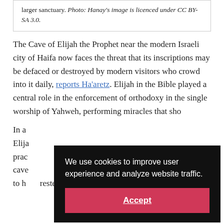larger sanctuary. Photo: Hanay's image is licenced under CC BY-SA 3.0.
The Cave of Elijah the Prophet near the modern Israeli city of Haifa now faces the threat that its inscriptions may be defaced or destroyed by modern visitors who crowd into it daily, reports Ha'aretz. Elijah in the Bible played a central role in the enforcement of orthodoxy in the single worship of Yahweh, performing miracles that sho...
In a... Elija... prac... cave... to have rested before his bloody showdown with...
[Figure (screenshot): Cookie consent overlay with dark background reading 'We use cookies to improve user experience and analyze website traffic.' and a red Accept button.]